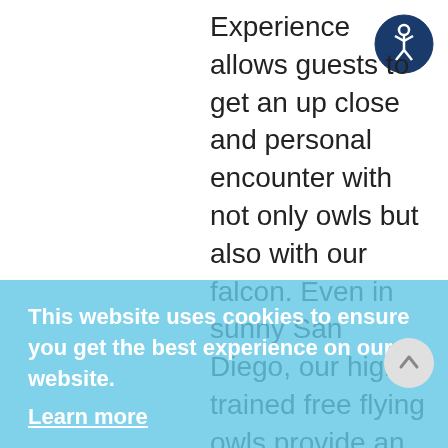Experience allows guests to get an up close and personal encounter with not only owls but also with our falcon. Even in sunny San Diego, our highly trained free flying owls provide an amazing insight into the world of this iconic predator. We have three owls in our team! A spectacled owl, Ripley, a Eurasian Eagle Owl, Florence, and Barnie. To ensure you get the unmatched adaptations of owls. ABI trainers show visitors how to catch an owl on the glove and you get the chance to be face to face with an owl in this Experience. While owls
[Figure (illustration): Accessibility icon: dark blue circle with white wheelchair/person symbol]
This website uses cookies to ensure you get the best experience on our website.
Learn more
Got it